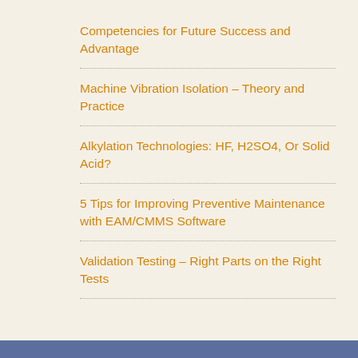Competencies for Future Success and Advantage
Machine Vibration Isolation – Theory and Practice
Alkylation Technologies: HF, H2SO4, Or Solid Acid?
5 Tips for Improving Preventive Maintenance with EAM/CMMS Software
Validation Testing – Right Parts on the Right Tests